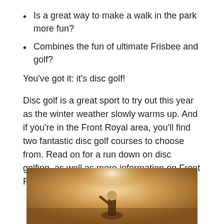Is a great way to make a walk in the park more fun?
Combines the fun of ultimate Frisbee and golf?
You’ve got it: it’s disc golf!
Disc golf is a great sport to try out this year as the winter weather slowly warms up. And if you’re in the Front Royal area, you’ll find two fantastic disc golf courses to choose from. Read on for a run down on disc golfing, as well as more information on Front Royal’s disc golf courses.
[Figure (photo): A warm-toned photo of a person playing disc golf, backlit with golden light]